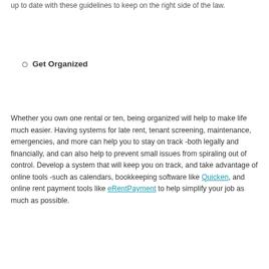up to date with these guidelines to keep on the right side of the law.
Get Organized
Whether you own one rental or ten, being organized will help to make life much easier. Having systems for late rent, tenant screening, maintenance, emergencies, and more can help you to stay on track -both legally and financially, and can also help to prevent small issues from spiraling out of control. Develop a system that will keep you on track, and take advantage of online tools -such as calendars, bookkeeping software like Quicken, and online rent payment tools like eRentPayment to help simplify your job as much as possible.